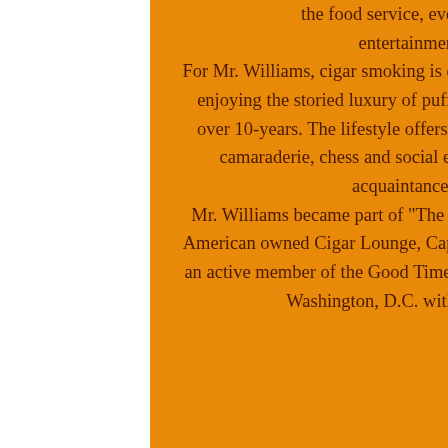the food service, event management and entertainment industries. For Mr. Williams, cigar smoking is embedded in his lifestyle. He's been enjoying the storied luxury of puffing Padron Anniversary cigars for over 10-years. The lifestyle offers an experience – one of relaxation, camaraderie, chess and social engagement of friends, business acquaintances, and family. Mr. Williams became part of "The Usual Suspects" at the first African American owned Cigar Lounge, Capital Premium Cigars. He's currently an active member of the Good Time Gang Cigar Club, headquartered in Washington, D.C. with chapters nationwide.